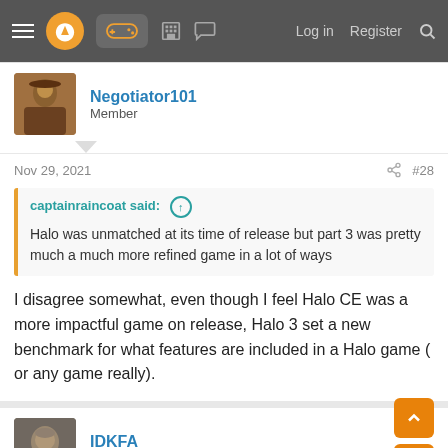Navigation bar with menu, logo, gamepad icon, building icon, chat icon, Log in, Register, Search
Negotiator101
Member
Nov 29, 2021   #28
captainraincoat said: ↑
Halo was unmatched at its time of release but part 3 was pretty much a much more refined game in a lot of ways
I disagree somewhat, even though I feel Halo CE was a more impactful game on release, Halo 3 set a new benchmark for what features are included in a Halo game ( or any game really).
IDKFA
Member